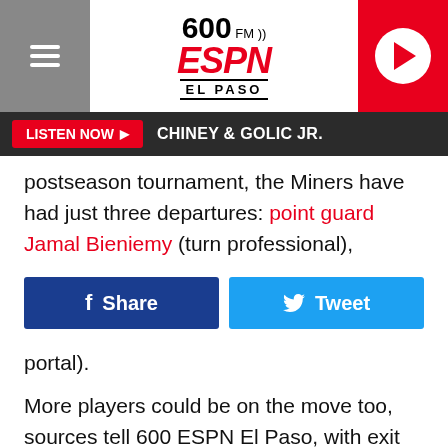600 FM ESPN EL PASO — LISTEN NOW — CHINEY & GOLIC JR.
postseason tournament, the Miners have had just three departures: point guard Jamal Bieniemy (turn professional),
portal).
More players could be on the move too, sources tell 600 ESPN El Paso, with exit interviews between players and coaches set to be held on Tuesday and Thursday of this week.
Miners lose a pair of forwards
Make no mistake, the Miners will miss the defense and rim protection that Verhagen brought to the table for the past